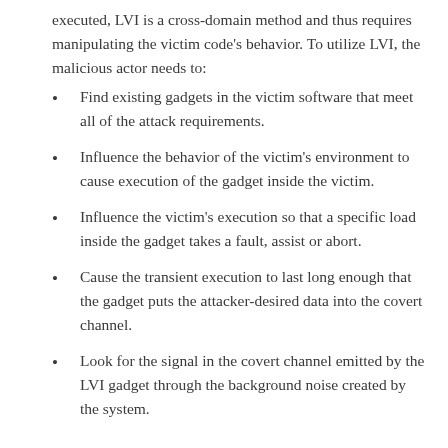executed, LVI is a cross-domain method and thus requires manipulating the victim code's behavior. To utilize LVI, the malicious actor needs to:
Find existing gadgets in the victim software that meet all of the attack requirements.
Influence the behavior of the victim's environment to cause execution of the gadget inside the victim.
Influence the victim's execution so that a specific load inside the gadget takes a fault, assist or abort.
Cause the transient execution to last long enough that the gadget puts the attacker-desired data into the covert channel.
Look for the signal in the covert channel emitted by the LVI gadget through the background noise created by the system.